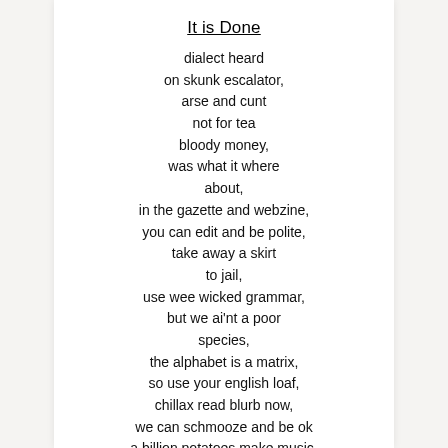It is Done
dialect heard
on skunk escalator,
arse and cunt
not for tea
bloody money,
was what it where
about,
in the gazette and webzine,
you can edit and be polite,
take away a skirt
to jail,
use wee wicked grammar,
but we ai'nt a poor
species,
the alphabet is a matrix,
so use your english loaf,
chillax read blurb now,
we can schmooze and be ok
a billion potatoes make music,
for all of us to hear,
lol is all you say so PC,